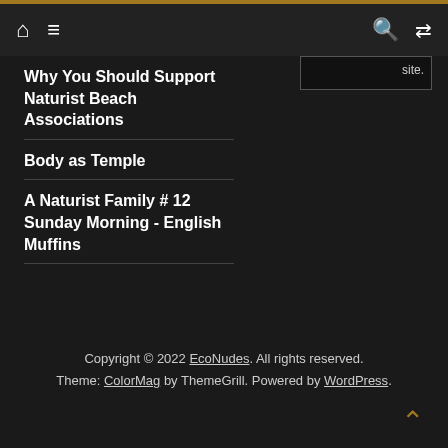Navigation bar with home icon, menu icon, search icon, shuffle icon
Why You Should Support Naturist Beach Associations
Body as Temple
A Naturist Family # 12 Sunday Morning - English Muffins
Copyright © 2022 EcoNudes. All rights reserved. Theme: ColorMag by ThemeGrill. Powered by WordPress.